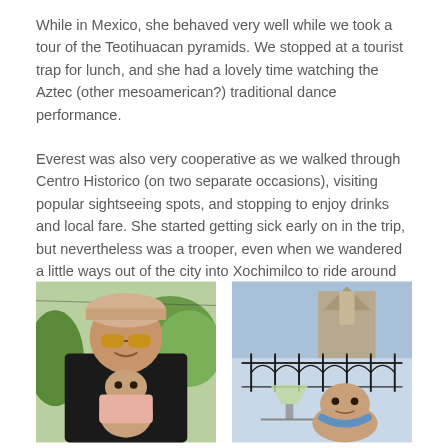While in Mexico, she behaved very well while we took a tour of the Teotihuacan pyramids. We stopped at a tourist trap for lunch, and she had a lovely time watching the Aztec (other mesoamerican?) traditional dance performance.
Everest was also very cooperative as we walked through Centro Historico (on two separate occasions), visiting popular sightseeing spots, and stopping to enjoy drinks and local fare. She started getting sick early on in the trip, but nevertheless was a trooper, even when we wandered a little ways out of the city into Xochimilco to ride around on a barge.
[Figure (photo): A woman wearing sunglasses and a cap smiling, with a baby in front of her, outdoors with green trees in the background]
[Figure (photo): A baby sitting outdoors with ornate iron fence and blue sky/building in background, a cocktail glass visible in the foreground]